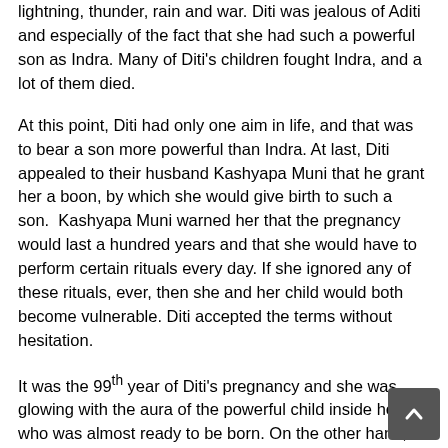lightning, thunder, rain and war. Diti was jealous of Aditi and especially of the fact that she had such a powerful son as Indra. Many of Diti’s children fought Indra, and a lot of them died.
At this point, Diti had only one aim in life, and that was to bear a son more powerful than Indra. At last, Diti appealed to their husband Kashyapa Muni that he grant her a boon, by which she would give birth to such a son.  Kashyapa Muni warned her that the pregnancy would last a hundred years and that she would have to perform certain rituals every day. If she ignored any of these rituals, ever, then she and her child would both become vulnerable. Diti accepted the terms without hesitation.
It was the 99th year of Diti’s pregnancy and she was glowing with the aura of the powerful child inside her, who was almost ready to be born. On the other hand, Aditi was perturbed and decided to converse on the matter with Indra. Indra seemed nonchalant about the fact that Diti was soon to become a mother again but when Aditi explained to